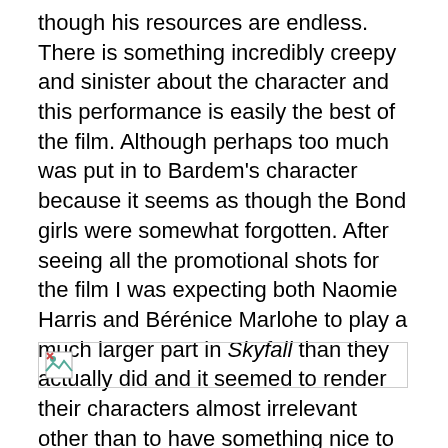though his resources are endless. There is something incredibly creepy and sinister about the character and this performance is easily the best of the film. Although perhaps too much was put in to Bardem's character because it seems as though the Bond girls were somewhat forgotten. After seeing all the promotional shots for the film I was expecting both Naomie Harris and Bérénice Marlohe to play a much larger part in Skyfall than they actually did and it seemed to render their characters almost irrelevant other than to have something nice to look at.
[Figure (photo): Broken image placeholder icon]